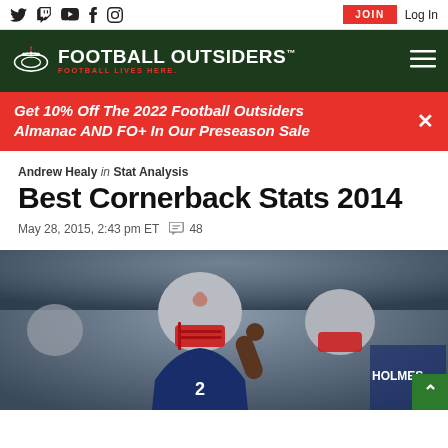Football Outsiders - Football Lives Here. Social icons: Twitter, Twitch, YouTube, Facebook, Instagram. JOIN | Log In
Get 10% Off The 2022 Football Outsiders Almanac AND FO+ In Our Preseason Sale
Andrew Healy in Stat Analysis
Best Cornerback Stats 2014
May 28, 2015, 2:43 pm ET  48
[Figure (photo): Two New England Patriots players in red and silver helmets on the field, one giving a thumbs up. A player with HOLMES on jersey visible in background.]